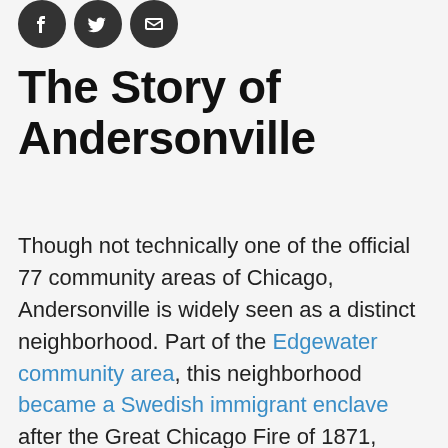[Figure (illustration): Three social media icon circles (Facebook, Twitter, Email) in dark gray]
The Story of Andersonville
Though not technically one of the official 77 community areas of Chicago, Andersonville is widely seen as a distinct neighborhood. Part of the Edgewater community area, this neighborhood became a Swedish immigrant enclave after the Great Chicago Fire of 1871, according to the Andersonville Chamber of Commerce. Because the city required people to rebuild with more expensive (but fireproof) brick or stone, Swedes who couldn't afford to do so moved to Andersonville to settle in